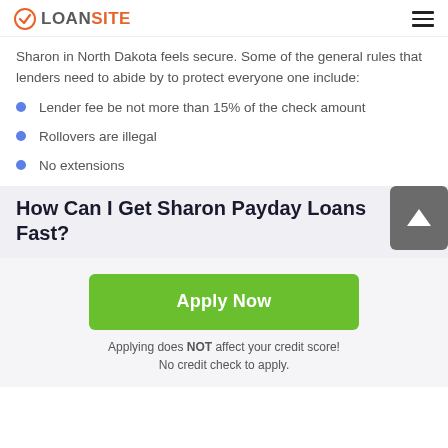LOANSITE
Sharon in North Dakota feels secure. Some of the general rules that lenders need to abide by to protect everyone one include:
Lender fee be not more than 15% of the check amount
Rollovers are illegal
No extensions
How Can I Get Sharon Payday Loans Fast?
[Figure (other): Green Apply Now button with text 'Apply Now']
Applying does NOT affect your credit score!
No credit check to apply.